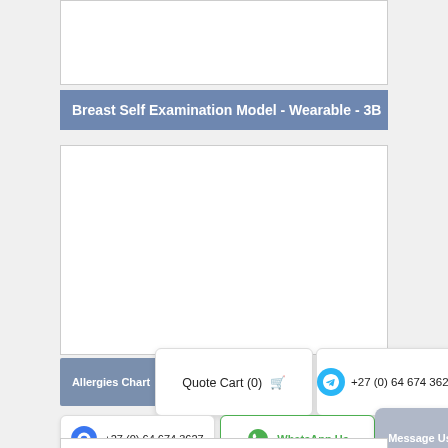[Figure (photo): Top image area - product image box (empty/white)]
Breast Self Examination Model - Wearable - 3B
[Figure (photo): Main product image area (empty/white box)]
Allergies Chart
Quote Cart (0)
+27 (0) 64 674 3627
+27 (0) 64 674 3627
WhatsApp Us
Message Us